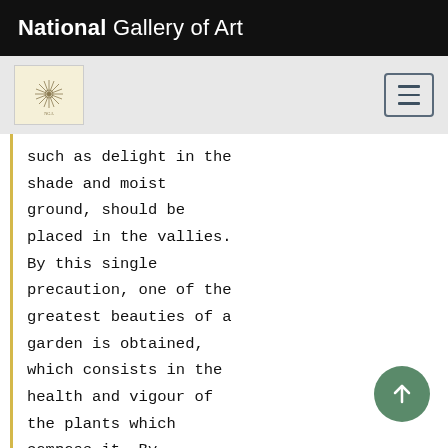National Gallery of Art
[Figure (logo): National Gallery of Art medallion/seal logo with starburst pattern on cream background]
[Figure (other): Hamburger menu icon button with three horizontal lines, dark blue border]
such as delight in the shade and moist ground, should be placed in the vallies. By this single precaution, one of the greatest beauties of a garden is obtained, which consists in the health and vigour of the plants which compose it. By considering well the predominant winds and storms of the country, we are directed where to plant our large
[Figure (other): Green circular scroll-to-top button with upward arrow icon]